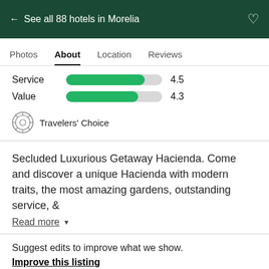← See all 88 hotels in Morelia
Photos  About  Location  Reviews
| Category | Score |
| --- | --- |
| Service | 4.5 |
| Value | 4.3 |
Travelers' Choice
Secluded Luxurious Getaway Hacienda. Come and discover a unique Hacienda with modern traits, the most amazing gardens, outstanding service, &
Read more ▼
Suggest edits to improve what we show.
Improve this listing
Property amenities